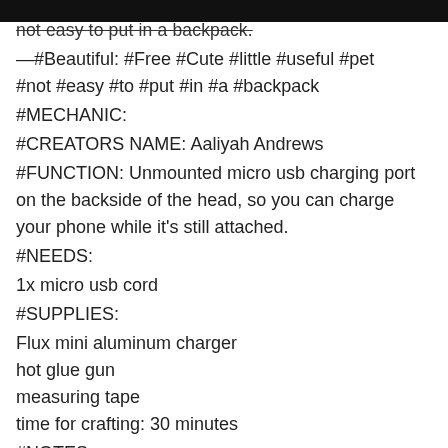not easy to put in a backpack.
—#Beautiful: #Free #Cute #little #useful #pet #not #easy #to #put #in #a #backpack
#MECHANIC:
#CREATORS NAME: Aaliyah Andrews
#FUNCTION: Unmounted micro usb charging port on the backside of the head, so you can charge your phone while it's still attached.
#NEEDS:
1x micro usb cord
#SUPPLIES:
Flux mini aluminum charger
hot glue gun
measuring tape
time for crafting: 30 minutes
#NOTES: